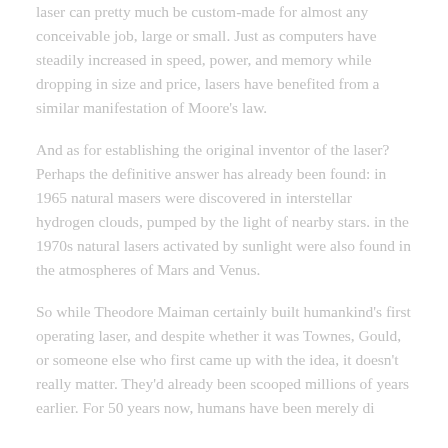laser can pretty much be custom-made for almost any conceivable job, large or small. Just as computers have steadily increased in speed, power, and memory while dropping in size and price, lasers have benefited from a similar manifestation of Moore's law.
And as for establishing the original inventor of the laser? Perhaps the definitive answer has already been found: in 1965 natural masers were discovered in interstellar hydrogen clouds, pumped by the light of nearby stars. in the 1970s natural lasers activated by sunlight were also found in the atmospheres of Mars and Venus.
So while Theodore Maiman certainly built humankind's first operating laser, and despite whether it was Townes, Gould, or someone else who first came up with the idea, it doesn't really matter. They'd already been scooped millions of years earlier. For 50 years now, humans have been merely discovering...